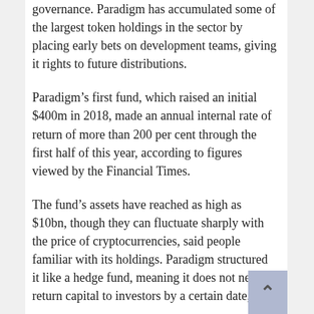governance. Paradigm has accumulated some of the largest token holdings in the sector by placing early bets on development teams, giving it rights to future distributions.
Paradigm's first fund, which raised an initial $400m in 2018, made an annual internal rate of return of more than 200 per cent through the first half of this year, according to figures viewed by the Financial Times.
The fund's assets have reached as high as $10bn, though they can fluctuate sharply with the price of cryptocurrencies, said people familiar with its holdings. Paradigm structured it like a hedge fund, meaning it does not need to return capital to investors by a certain date, a